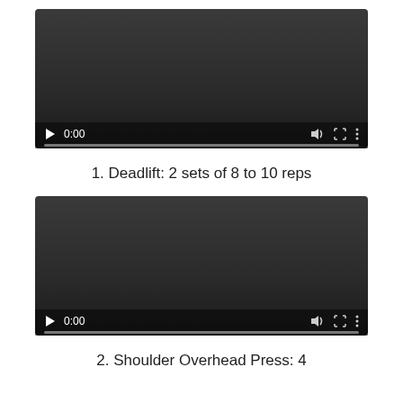[Figure (screenshot): Video player screenshot showing a dark video player with play button, time display 0:00, volume icon, fullscreen icon, and more options icon with a progress bar at the bottom.]
1. Deadlift: 2 sets of 8 to 10 reps
[Figure (screenshot): Video player screenshot showing a dark video player with play button, time display 0:00, volume icon, fullscreen icon, and more options icon with a progress bar at the bottom.]
2. Shoulder Overhead Press: 4